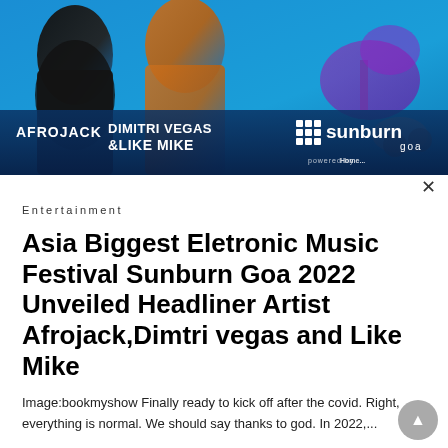[Figure (photo): Advertisement banner for Sunburn Goa 2022 festival featuring DJs Afrojack, Dimitri Vegas & Like Mike on a blue background with Sunburn Goa logo]
Entertainment
Asia Biggest Eletronic Music Festival Sunburn Goa 2022 Unveiled Headliner Artist Afrojack,Dimtri vegas and Like Mike
Image:bookmyshow Finally ready to kick off after the covid. Right, everything is normal. We should say thanks to god. In 2022,...